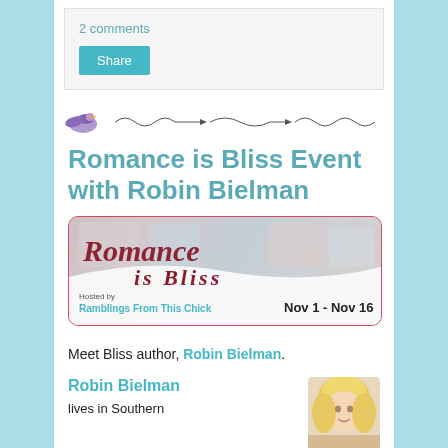2 comments
Share
[Figure (illustration): Small purple/blue bird icon followed by decorative swirl/scroll divider line]
Romance is Bliss Event with Robin Bielman
[Figure (illustration): Romance is Bliss event banner with decorative text, hosted by Ramblings From This Chick, Nov 1 - Nov 16]
Meet Bliss author, Robin Bielman.
Robin Bielman
lives in Southern
[Figure (photo): Partial photo of a blonde woman (Robin Bielman)]